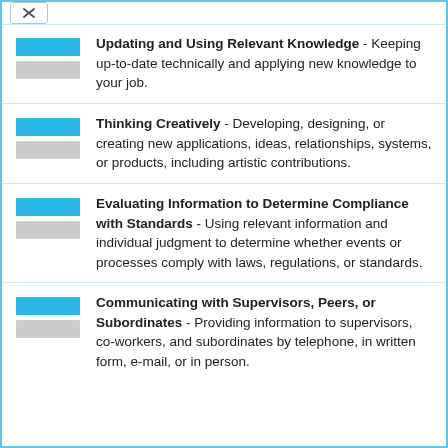Updating and Using Relevant Knowledge - Keeping up-to-date technically and applying new knowledge to your job.
Thinking Creatively - Developing, designing, or creating new applications, ideas, relationships, systems, or products, including artistic contributions.
Evaluating Information to Determine Compliance with Standards - Using relevant information and individual judgment to determine whether events or processes comply with laws, regulations, or standards.
Communicating with Supervisors, Peers, or Subordinates - Providing information to supervisors, co-workers, and subordinates by telephone, in written form, e-mail, or in person.